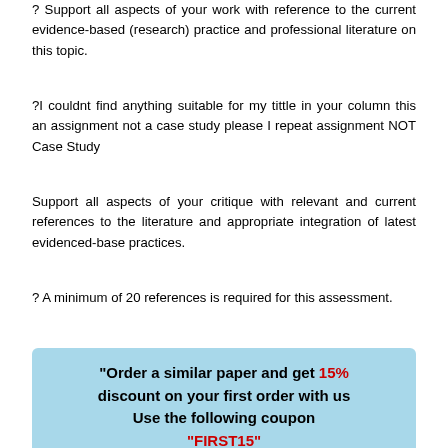? Support all aspects of your work with reference to the current evidence-based (research) practice and professional literature on this topic.
?I couldnt find anything suitable for my tittle in your column this an assignment not a case study please I repeat assignment NOT Case Study
Support all aspects of your critique with relevant and current references to the literature and appropriate integration of latest evidenced-base practices.
? A minimum of 20 references is required for this assessment.
"Order a similar paper and get 15% discount on your first order with us Use the following coupon "FIRST15"